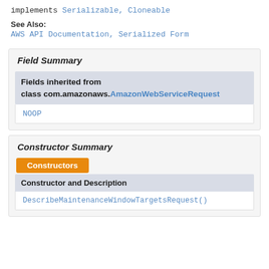implements Serializable, Cloneable
See Also:
AWS API Documentation, Serialized Form
Field Summary
| Fields inherited from class com.amazonaws.AmazonWebServiceRequest |
| --- |
| NOOP |
Constructor Summary
| Constructor and Description |
| --- |
| DescribeMaintenanceWindowTargetsRequest() |
Constructors